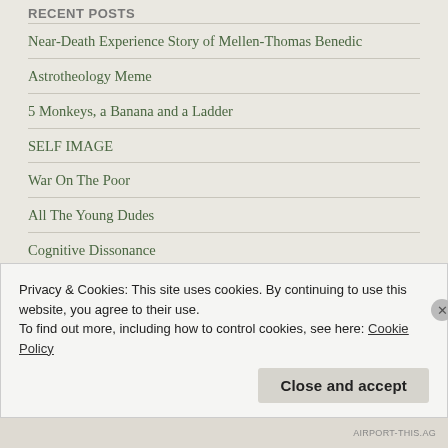Recent Posts
Near-Death Experience Story of Mellen-Thomas Benedic
Astrotheology Meme
5 Monkeys, a Banana and a Ladder
SELF IMAGE
War On The Poor
All The Young Dudes
Cognitive Dissonance
Edgar Cayce: Ordinary Man, Extraordinary Messenger
Hanging Ten over the Apocalypse with Belief in Our Essence
Privacy & Cookies: This site uses cookies. By continuing to use this website, you agree to their use.
To find out more, including how to control cookies, see here: Cookie Policy
Close and accept
AIRPORT-THIS.AG